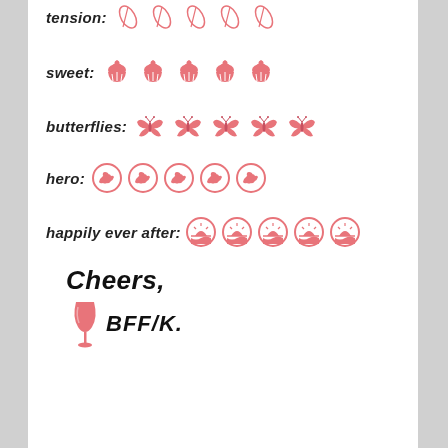[Figure (illustration): Rating row: 'tension:' label with 5 pink feather/leaf icons (partially cut off at top)]
[Figure (illustration): Rating row: 'sweet:' label with 5 pink cupcake icons]
[Figure (illustration): Rating row: 'butterflies:' label with 5 pink butterfly icons]
[Figure (illustration): Rating row: 'hero:' label with 5 pink circular flexing arm icons]
[Figure (illustration): Rating row: 'happily ever after:' label with 5 pink circular sunrise/landscape icons]
Cheers,
🍷BFF/K.